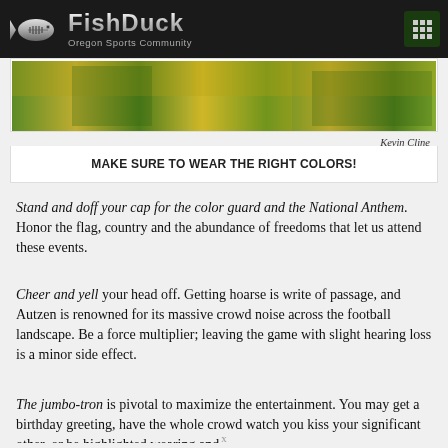FishDuck — Oregon Sports Community
[Figure (photo): Crowd of Oregon Ducks fans wearing green and yellow colors at a stadium]
Kevin Cline
MAKE SURE TO WEAR THE RIGHT COLORS!
Stand and doff your cap for the color guard and the National Anthem. Honor the flag, country and the abundance of freedoms that let us attend these events.
Cheer and yell your head off. Getting hoarse is write of passage, and Autzen is renowned for its massive crowd noise across the football landscape. Be a force multiplier; leaving the game with slight hearing loss is a minor side effect.
The jumbo-tron is pivotal to maximize the entertainment. You may get a birthday greeting, have the whole crowd watch you kiss your significant other, or be highlighted wearing and